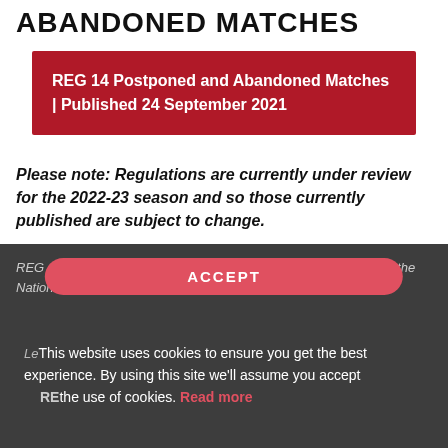ABANDONED MATCHES
REG 14 Postponed and Abandoned Matches | Published 24 September 2021
Please note: Regulations are currently under review for the 2022-23 season and so those currently published are subject to change.
REG 14 applies to the Team Championships conducted as part of the National, Premier and Conference Leagues.
ACCEPT
This website uses cookies to ensure you get the best experience. By using this site we'll assume you accept the use of cookies. Read more